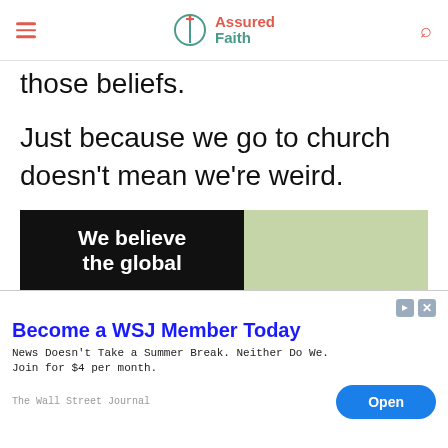Assured Faith
those beliefs.
Just because we go to church doesn't mean we're weird.
In fact, going to church is one of the things that help us stay connected to our faith.
[Figure (other): Advertisement banner showing 'We believe the global' on black background with green/white floral image]
[Figure (other): WSJ advertisement: 'Become a WSJ Member Today. News Doesn't Take a Summer Break. Neither Do We. Join for $4 per month. The Wall Street Journal. Open button.']